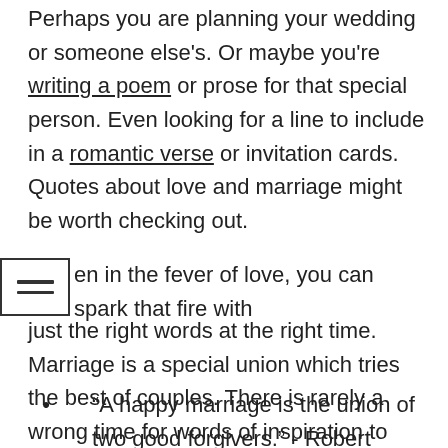Perhaps you are planning your wedding or someone else's. Or maybe you're writing a poem or prose for that special person. Even looking for a line to include in a romantic verse or invitation cards. Quotes about love and marriage might be worth checking out.
Even in the fever of love, you can spark that fire with just the right words at the right time. Marriage is a special union which tries the best of couples. There is rarely a wrong time for words of inspiration to help keep that fire burning.
“A happy marriage is the union of two good forgivers.” - Robert